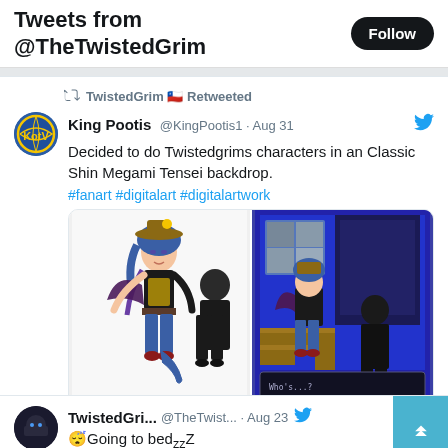Tweets from @TheTwistedGrim
TwistedGrim 🇨🇱 Retweeted
King Pootis @KingPootis1 · Aug 31
Decided to do Twistedgrims characters in an Classic Shin Megami Tensei backdrop. #fanart #digitalart #digitalartwork
[Figure (illustration): Two-panel fan art image: left shows animated character with blue hair, wings, and dark outfit; right shows same character in a classic RPG game style background with blue room]
189 likes
TwistedGri... @TheTwist... · Aug 23 😴Going to bed🇿🇿Z